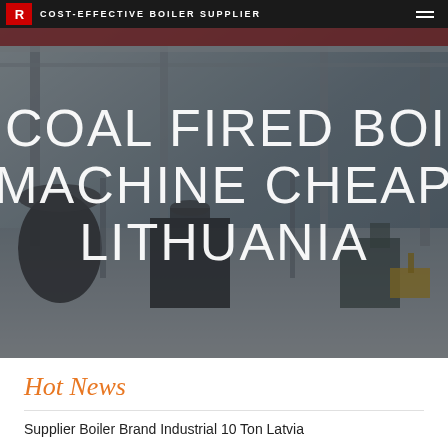COST-EFFECTIVE BOILER SUPPLIER
[Figure (photo): Industrial boiler manufacturing facility interior showing large factory floor with cranes, machinery, and boiler components. Large white text overlaid reads '10T COAL FIRED BOILER MACHINE CHEAP LITHUANIA'.]
10T COAL FIRED BOILER MACHINE CHEAP LITHUANIA
Hot News
Supplier Boiler Brand Industrial 10 Ton Latvia